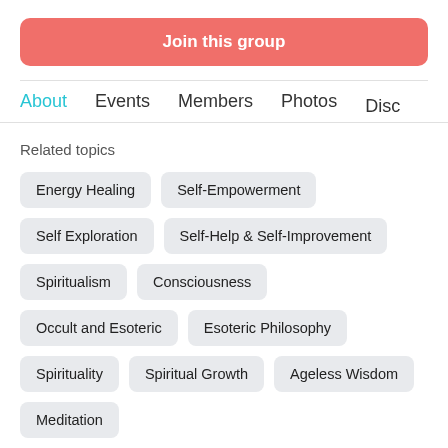Join this group
About   Events   Members   Photos   Disc
Related topics
Energy Healing
Self-Empowerment
Self Exploration
Self-Help & Self-Improvement
Spiritualism
Consciousness
Occult and Esoteric
Esoteric Philosophy
Spirituality
Spiritual Growth
Ageless Wisdom
Meditation